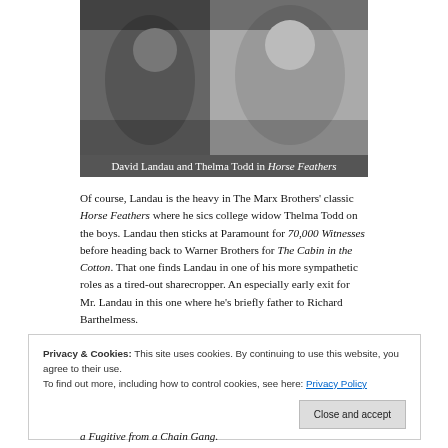[Figure (photo): Black and white photo of David Landau and Thelma Todd in Horse Feathers, partially cropped at top]
David Landau and Thelma Todd in Horse Feathers
Of course, Landau is the heavy in The Marx Brothers' classic Horse Feathers where he sics college widow Thelma Todd on the boys. Landau then sticks at Paramount for 70,000 Witnesses before heading back to Warner Brothers for The Cabin in the Cotton. That one finds Landau in one of his more sympathetic roles as a tired-out sharecropper. An especially early exit for Mr. Landau in this one where he's briefly father to Richard Barthelmess.
Privacy & Cookies: This site uses cookies. By continuing to use this website, you agree to their use. To find out more, including how to control cookies, see here: Privacy Policy
Close and accept
a Fugitive from a Chain Gang.